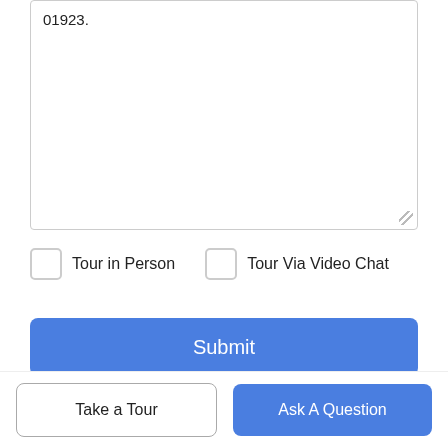01923.
Tour in Person
Tour Via Video Chat
Submit
Disclaimer: By entering your information and submitting this form, you agree to our Terms of Use and Privacy Policy and that you may be contacted by phone, text message and email about your inquiry.
The property listing data and information set forth herein were provided to MLS Property Information Network, Inc. from third party sources, including sellers, lessors and public records, and
Take a Tour
Ask A Question